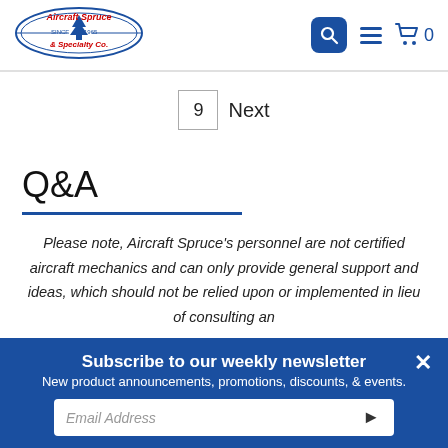[Figure (logo): Aircraft Spruce & Specialty Co. logo with tree emblem, red and blue colors]
9  Next
Q&A
Please note, Aircraft Spruce's personnel are not certified aircraft mechanics and can only provide general support and ideas, which should not be relied upon or implemented in lieu of consulting an
Subscribe to our weekly newsletter
New product announcements, promotions, discounts, & events.